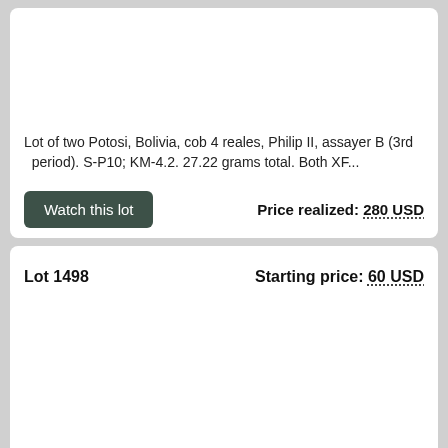Lot of two Potosi, Bolivia, cob 4 reales, Philip II, assayer B (3rd period). S-P10; KM-4.2. 27.22 grams total. Both XF...
Price realized: 280 USD
Lot 1498
Starting price: 60 USD